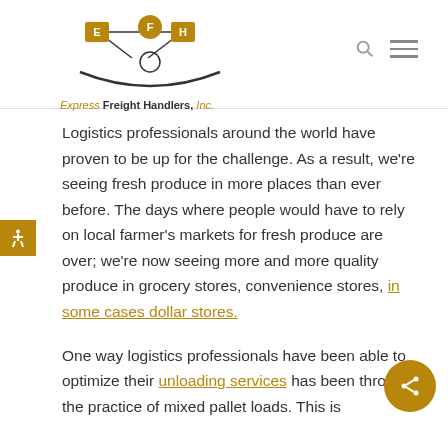[Figure (logo): Express Freight Handlers, Inc. logo with stylized person figure and connected nodes labeled E, F, H]
Logistics professionals around the world have proven to be up for the challenge. As a result, we're seeing fresh produce in more places than ever before. The days where people would have to rely on local farmer's markets for fresh produce are over; we're now seeing more and more quality produce in grocery stores, convenience stores, in some cases dollar stores.
One way logistics professionals have been able to optimize their unloading services has been through the practice of mixed pallet loads. This is